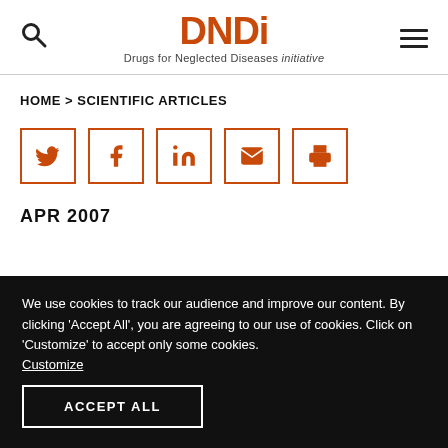DNDi – Drugs for Neglected Diseases initiative
HOME > SCIENTIFIC ARTICLES
[Figure (infographic): Social sharing icons row: Twitter, Facebook, LinkedIn, Email, Print – each in an orange-bordered square]
APR 2007
We use cookies to track our audience and improve our content. By clicking 'Accept All', you are agreeing to our use of cookies. Click on 'Customize' to accept only some cookies. Customize
ACCEPT ALL